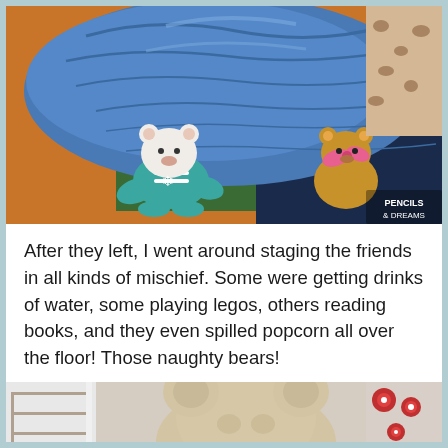[Figure (photo): Photo of stuffed animal toys (a white bear in teal/blue outfit and a brown bear with pink bow) lying under a large blue plastic bag/tarp on a colorful classroom rug. Watermark 'PENCILS & DREAMS' in bottom right corner.]
After they left, I went around staging the friends in all kinds of mischief. Some were getting drinks of water, some playing legos, others reading books, and they even spilled popcorn all over the floor! Those naughty bears!
[Figure (photo): Partial photo showing a stuffed bear toy (beige/cream colored) sitting near shelves in a classroom setting, with colorful items visible in the background.]